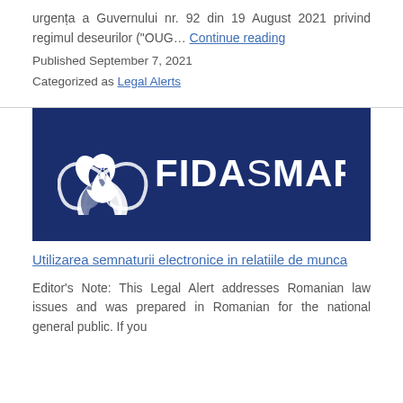urgenta a Guvernului nr. 92 din 19 August 2021 privind regimul deseurilor ("OUG… Continue reading
Published September 7, 2021
Categorized as Legal Alerts
[Figure (logo): FIDASmart logo — white triquetra symbol and white text 'FIDASmart' on a dark navy blue background]
Utilizarea semnaturii electronice in relatiile de munca
Editor's Note: This Legal Alert addresses Romanian law issues and was prepared in Romanian for the national general public. If you